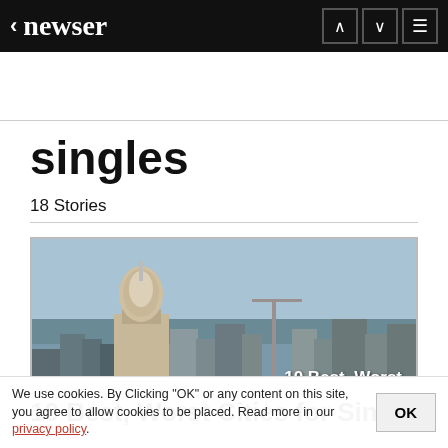< newser
singles
18 Stories
[Figure (photo): City skyline with capitol dome building, overlaid with article title: 10 Best, Worst Cities for Singles]
Nov 29, 2021  8:27 AM CST
10 Best, Worst Cities for Singles
We use cookies. By Clicking "OK" or any content on this site, you agree to allow cookies to be placed. Read more in our privacy policy.